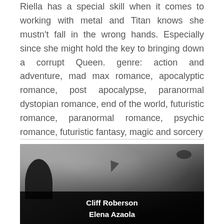Riella has a special skill when it comes to working with metal and Titan knows she mustn't fall in the wrong hands. Especially since she might hold the key to bringing down a corrupt Queen. genre: action and adventure, mad max romance, apocalyptic romance, post apocalypse, paranormal dystopian romance, end of the world, futuristic romance, paranormal romance, psychic romance, futuristic fantasy, magic and sorcery
[Figure (illustration): Book cover showing dark moody background with silhouetted figures, featuring the author names 'Cliff Roberson' and 'Elena Azaola' in white bold text on a dark band at the bottom]